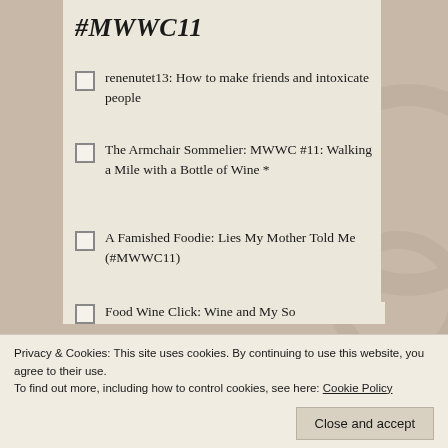#MWWC11
renenutet13: How to make friends and intoxicate people
The Armchair Sommelier: MWWC #11: Walking a Mile with a Bottle of Wine *
A Famished Foodie: Lies My Mother Told Me (#MWWC11)
Food Wine Click: Wine and My So Remain Friends in the Wine Industry?
Privacy & Cookies: This site uses cookies. By continuing to use this website, you agree to their use.
To find out more, including how to control cookies, see here: Cookie Policy
Close and accept